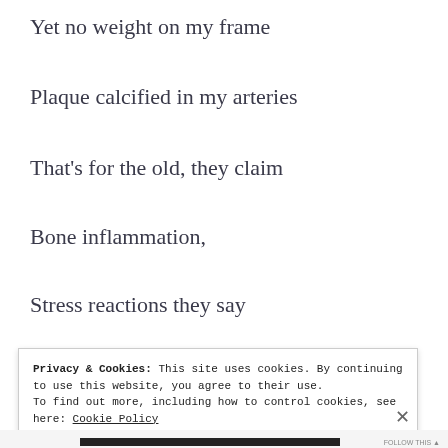Yet no weight on my frame
Plaque calcified in my arteries
That's for the old, they claim
Bone inflammation,
Stress reactions they say
3 years in a wheelchair
Privacy & Cookies: This site uses cookies. By continuing to use this website, you agree to their use. To find out more, including how to control cookies, see here: Cookie Policy
Close and accept